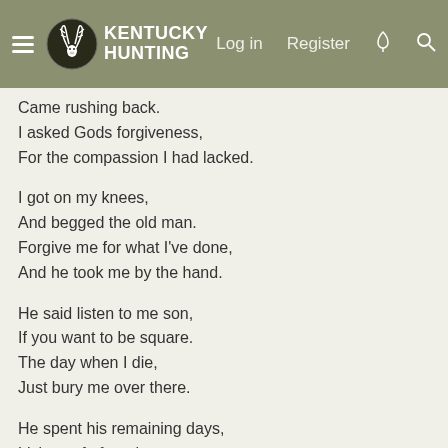Kentucky Hunting | Log in | Register
Came rushing back.
I asked Gods forgiveness,
For the compassion I had lacked.

I got on my knees,
And begged the old man.
Forgive me for what I've done,
And he took me by the hand.

He said listen to me son,
If you want to be square.
The day when I die,
Just bury me over there.

He spent his remaining days,
Living safe from harm.
In a little old house,
Down on our farm.